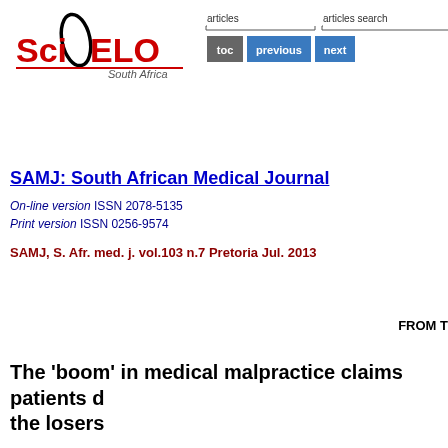[Figure (logo): SciELO South Africa logo with red text and black oval graphic]
[Figure (screenshot): Navigation bar with 'articles' and 'articles search' labels and toc/previous/next buttons]
SAMJ: South African Medical Journal
On-line version ISSN 2078-5135
Print version ISSN 0256-9574
SAMJ, S. Afr. med. j. vol.103 n.7 Pretoria Jul. 2013
FROM T
The 'boom' in medical malpractice claims patients d the losers